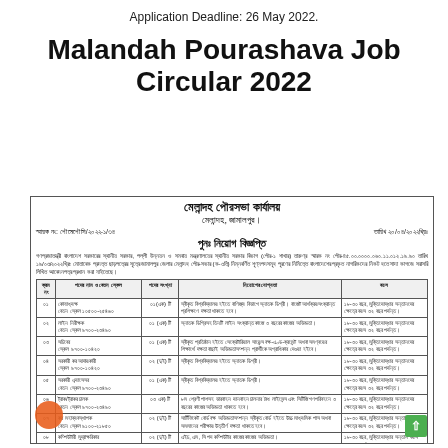Application Deadline: 26 May 2022.
Malandah Pourashava Job Circular 2022
[Figure (other): Scanned Bengali-language government job circular document for Malandah Pourashava (municipal office), Jamalpur, with table listing job positions, vacancies, qualifications and age requirements.]